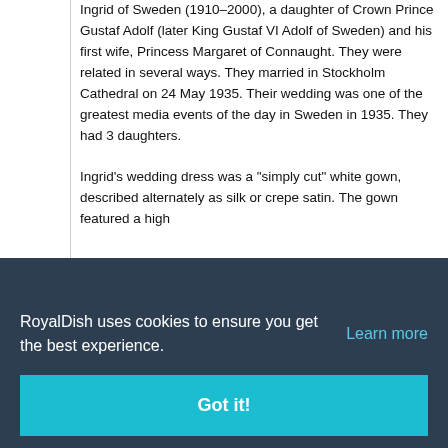Ingrid of Sweden (1910–2000), a daughter of Crown Prince Gustaf Adolf (later King Gustaf VI Adolf of Sweden) and his first wife, Princess Margaret of Connaught. They were related in several ways. They married in Stockholm Cathedral on 24 May 1935. Their wedding was one of the greatest media events of the day in Sweden in 1935. They had 3 daughters.
Ingrid's wedding dress was a "simply cut" white gown, described alternately as silk or crepe satin. The gown featured a high [g sleeves, n point de, ther, own, was made, been, Ingrid or, y. Atop, f myrtle, he wore the Khedive of Egypt Catler Tiara she had inherited from her mother and a
RoyalDish uses cookies to ensure you get the best experience. Learn more
Got it!